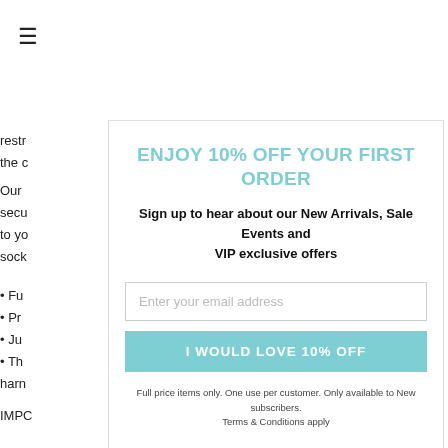≡
restr
the c
Our 
secu
to yo
sock
• Fu
• Pr
• Ju
• Th
harn
IMPC
ENJOY 10% OFF YOUR FIRST ORDER
Sign up to hear about our New Arrivals, Sale Events and VIP exclusive offers
Enter your email address
I WOULD LOVE 10% OFF
Full price items only. One use per customer. Only available to New subscribers. Terms & Conditions apply